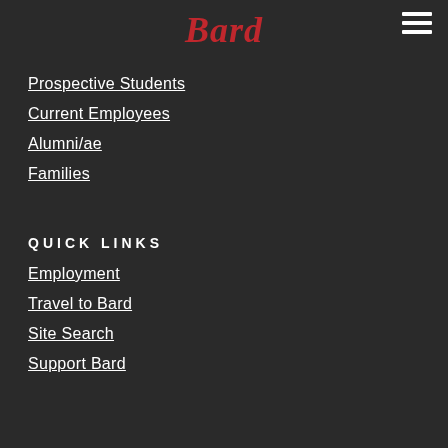Bard
Prospective Students
Current Employees
Alumni/ae
Families
QUICK LINKS
Employment
Travel to Bard
Site Search
Support Bard